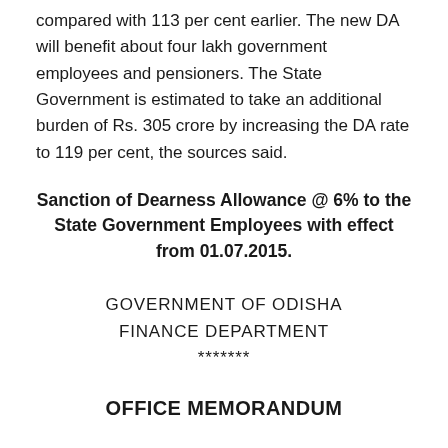compared with 113 per cent earlier. The new DA will benefit about four lakh government employees and pensioners. The State Government is estimated to take an additional burden of Rs. 305 crore by increasing the DA rate to 119 per cent, the sources said.
Sanction of Dearness Allowance @ 6% to the State Government Employees with effect from 01.07.2015.
GOVERNMENT OF ODISHA
FINANCE DEPARTMENT
*******
OFFICE MEMORANDUM